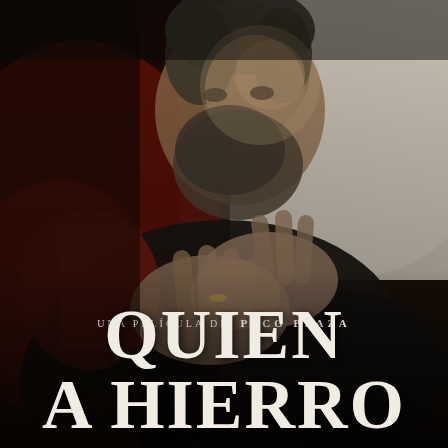[Figure (photo): Movie poster background: A bearded man with salt-and-pepper hair wearing a black leather jacket, holding his hands up in front of him with fingers spread. The background is a mix of dark red/maroon on the left and light gray/white on the right. The overall mood is dramatic and intense.]
UNA PELICULA DE PACO PLAZA
QUIEN A HIERRO